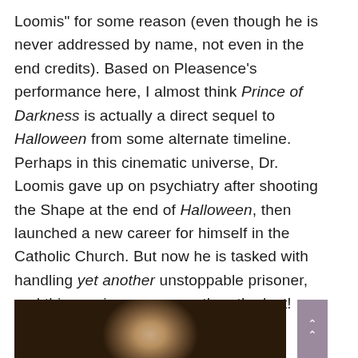Loomis" for some reason (even though he is never addressed by name, not even in the end credits). Based on Pleasence's performance here, I almost think Prince of Darkness is actually a direct sequel to Halloween from some alternate timeline. Perhaps in this cinematic universe, Dr. Loomis gave up on psychiatry after shooting the Shape at the end of Halloween, then launched a new career for himself in the Catholic Church. But now he is tasked with handling yet another unstoppable prisoner, and this one is even worse than the last!
[Figure (photo): Dark photograph showing a bald man, likely Donald Pleasence, photographed from below in low-light cinematic style]